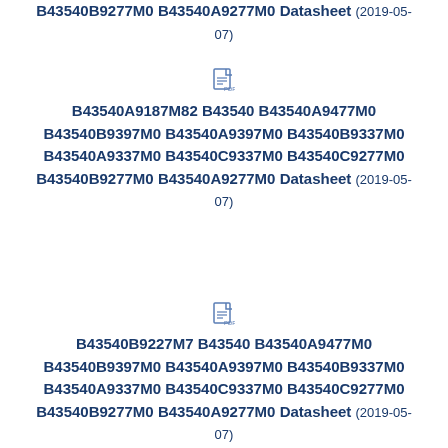B43540B9277M0 B43540A9277M0 Datasheet (2019-05-07)
[Figure (other): PDF document icon]
B43540A9187M82 B43540 B43540A9477M0 B43540B9397M0 B43540A9397M0 B43540B9337M0 B43540A9337M0 B43540C9337M0 B43540C9277M0 B43540B9277M0 B43540A9277M0 Datasheet (2019-05-07)
[Figure (other): PDF document icon]
B43540B9227M7 B43540 B43540A9477M0 B43540B9397M0 B43540A9397M0 B43540B9337M0 B43540A9337M0 B43540C9337M0 B43540C9277M0 B43540B9277M0 B43540A9277M0 Datasheet (2019-05-07)